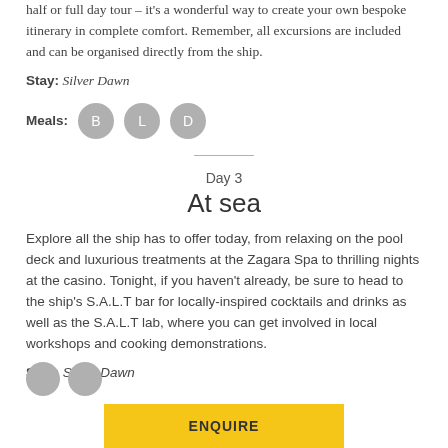half or full day tour – it's a wonderful way to create your own bespoke itinerary in complete comfort. Remember, all excursions are included and can be organised directly from the ship.
Stay: Silver Dawn
Meals: B L D
Day 3
At sea
Explore all the ship has to offer today, from relaxing on the pool deck and luxurious treatments at the Zagara Spa to thrilling nights at the casino. Tonight, if you haven't already, be sure to head to the ship's S.A.L.T bar for locally-inspired cocktails and drinks as well as the S.A.L.T lab, where you can get involved in local workshops and cooking demonstrations.
Stay: Silver Dawn
ENQUIRE